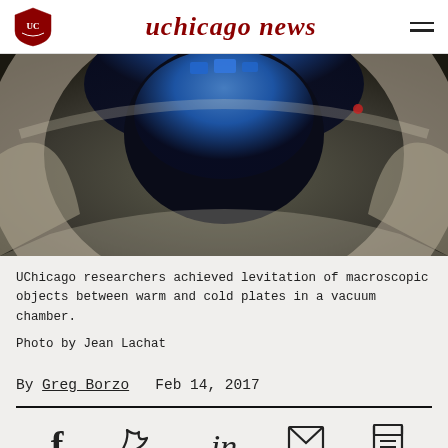uchicago news
[Figure (photo): Close-up photo of a vacuum chamber apparatus with metallic cylindrical flanges and blue components visible through the opening, used for levitation experiments.]
UChicago researchers achieved levitation of macroscopic objects between warm and cold plates in a vacuum chamber.

Photo by Jean Lachat
By Greg Borzo  Feb 14, 2017